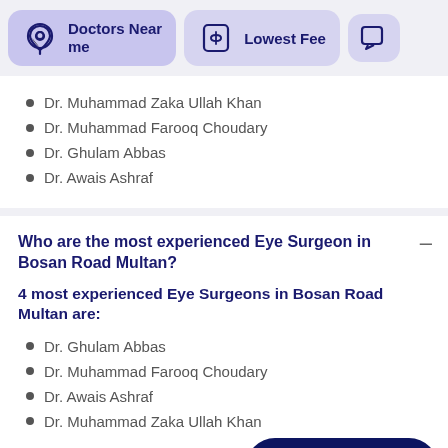[Figure (screenshot): Navigation bar with 'Doctors Near me' and 'Lowest Fee' filter buttons with icons]
Dr. Muhammad Zaka Ullah Khan
Dr. Muhammad Farooq Choudary
Dr. Ghulam Abbas
Dr. Awais Ashraf
Who are the most experienced Eye Surgeon in Bosan Road Multan?
4 most experienced Eye Surgeons in Bosan Road Multan are:
Dr. Ghulam Abbas
Dr. Muhammad Farooq Choudary
Dr. Awais Ashraf
Dr. Muhammad Zaka Ullah Khan